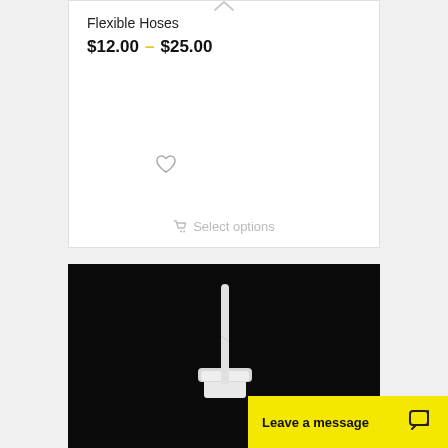Flexible Hoses
$12.00 – $25.00
[Figure (illustration): Heart/wishlist icon outline]
Select options
[Figure (photo): A white flexible hose or tube with cap/lid on a black background]
Leave a message